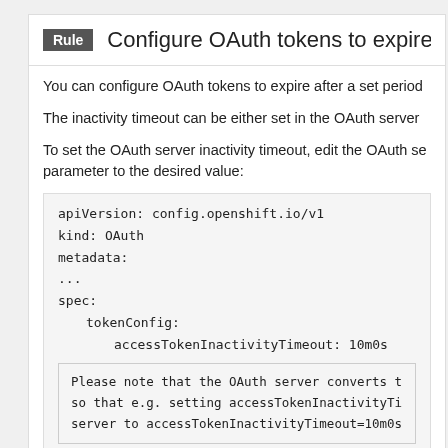Rule  Configure OAuth tokens to expire after
You can configure OAuth tokens to expire after a set period
The inactivity timeout can be either set in the OAuth server
To set the OAuth server inactivity timeout, edit the OAuth se parameter to the desired value:
apiVersion: config.openshift.io/v1
kind: OAuth
metadata:
...
spec:
    tokenConfig:
        accessTokenInactivityTimeout: 10m0s
Please note that the OAuth server converts t so that e.g. setting accessTokenInactivityTi server to accessTokenInactivityTimeout=10m0s